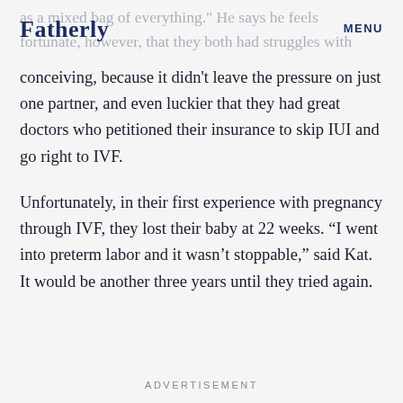Fatherly   MENU
as a mixed bag of everything." He says he feels fortunate, however, that they both had struggles with
conceiving, because it didn't leave the pressure on just one partner, and even luckier that they had great doctors who petitioned their insurance to skip IUI and go right to IVF.
Unfortunately, in their first experience with pregnancy through IVF, they lost their baby at 22 weeks. “I went into preterm labor and it wasn’t stoppable,” said Kat. It would be another three years until they tried again.
ADVERTISEMENT